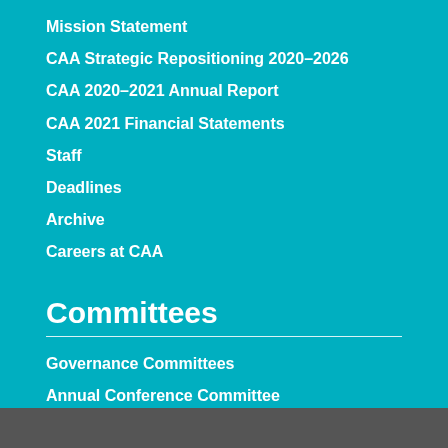Mission Statement
CAA Strategic Repositioning 2020–2026
CAA 2020–2021 Annual Report
CAA 2021 Financial Statements
Staff
Deadlines
Archive
Careers at CAA
Committees
Governance Committees
Annual Conference Committee
Professional Committees
Publications Committees